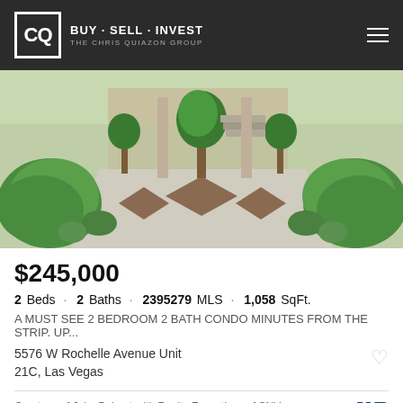CQ BUY · SELL · INVEST THE CHRIS QUIAZON GROUP
[Figure (photo): Exterior landscaping of a condo complex with manicured green hedges, trees, and paved walkways]
$245,000
2 Beds · 2 Baths · 2395279 MLS · 1,058 SqFt.
A MUST SEE 2 BEDROOM 2 BATH CONDO MINUTES FROM THE STRIP. UP...
5576 W Rochelle Avenue Unit 21C, Las Vegas
Courtesy of Jake Bohnet with Realty Executives of SNV. Selling Office: BHHS Nevada Properties.
[Figure (photo): Bottom strip showing exterior of another property with trees and blue sky]